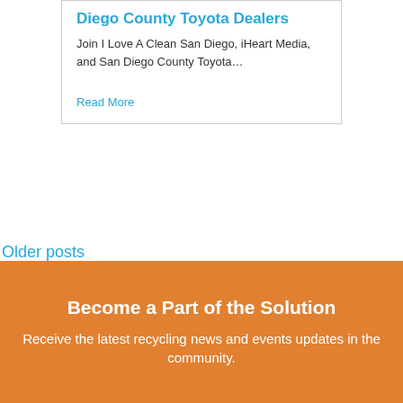Diego County Toyota Dealers
Join I Love A Clean San Diego, iHeart Media, and San Diego County Toyota…
Read More
Older posts
Become a Part of the Solution
Receive the latest recycling news and events updates in the community.